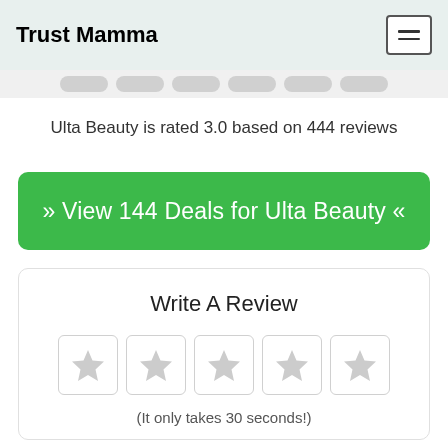Trust Mamma
Ulta Beauty is rated 3.0 based on 444 reviews
» View 144 Deals for Ulta Beauty «
Write A Review
(It only takes 30 seconds!)